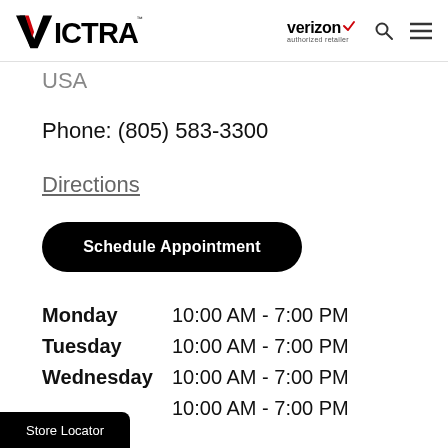VICTRA — Verizon authorized retailer
USA
Phone: (805) 583-3300
Directions
Schedule Appointment
| Day | Hours |
| --- | --- |
| Monday | 10:00 AM - 7:00 PM |
| Tuesday | 10:00 AM - 7:00 PM |
| Wednesday | 10:00 AM - 7:00 PM |
|  | 10:00 AM - 7:00 PM |
Store Locator